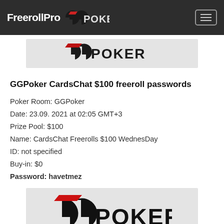FreerollPro  GGPoker
[Figure (logo): GGPoker logo on light grey background (partial, top of page)]
GGPoker CardsChat $100 freeroll passwords
Poker Room: GGPoker
Date: 23.09. 2021 at 02:05 GMT+3
Prize Pool: $100
Name: CardsChat Freerolls $100 WednesDay
ID: not specified
Buy-in: $0
Password: havetmez
[Figure (logo): GGPoker logo on light grey background (bottom of page)]